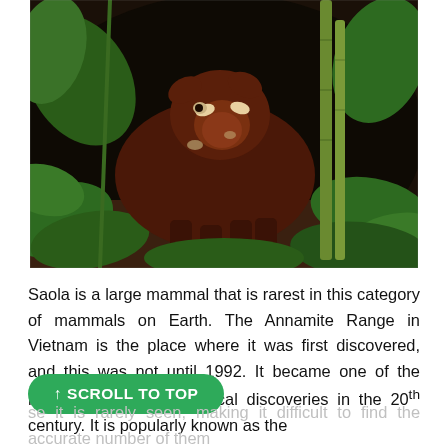[Figure (photo): A saola (large dark brown mammal) resting in dense jungle vegetation with green leaves and bamboo visible around it. Camera trap style wildlife photograph.]
Saola is a large mammal that is rarest in this category of mammals on Earth. The Annamite Range in Vietnam is the place where it was first discovered, and this was not until 1992. It became one of the most spectacular zoological discoveries in the 20th century. It is popularly known as the ... because it is rarely seen, making it difficult to find the accurate number of them